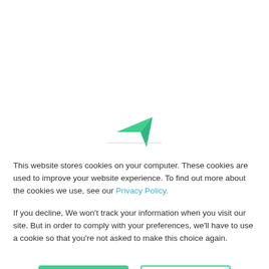[Figure (logo): Green arrow/paper-plane logo mark partially visible at the bottom of the top white section, with a horizontal line dividing the page]
This website stores cookies on your computer. These cookies are used to improve your website experience. To find out more about the cookies we use, see our Privacy Policy.
If you decline, We won't track your information when you visit our site. But in order to comply with your preferences, we'll have to use a cookie so that you're not asked to make this choice again.